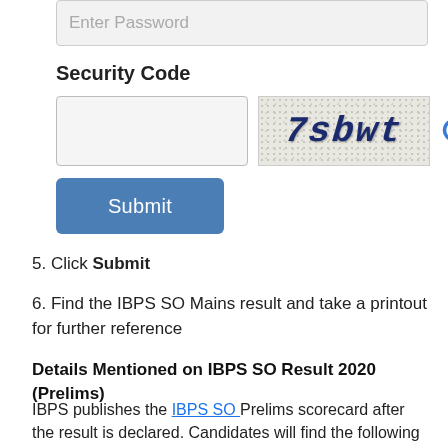[Figure (screenshot): Password input field with placeholder text 'Enter Password' on a grey background]
Security Code
[Figure (screenshot): Security code section with a text input box and a CAPTCHA image showing '7sbwt' in distorted dark blue text on a noisy background, with a refresh icon to the right]
[Figure (screenshot): Submit button in blue with white text]
5. Click Submit
6. Find the IBPS SO Mains result and take a printout for further reference
Details Mentioned on IBPS SO Result 2020 (Prelims)
IBPS publishes the IBPS SO Prelims scorecard after the result is declared. Candidates will find the following details in IBPS SO Prelims scorecard.